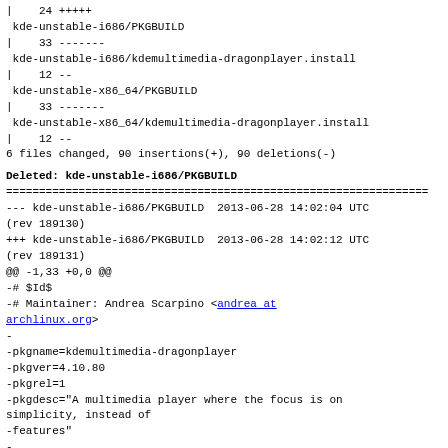|    24 +++++
 kde-unstable-i686/PKGBUILD
|    33 -------
 kde-unstable-i686/kdemultimedia-dragonplayer.install
|    12 --
 kde-unstable-x86_64/PKGBUILD
|    33 -------
 kde-unstable-x86_64/kdemultimedia-dragonplayer.install
|    12 --
6 files changed, 90 insertions(+), 90 deletions(-)
Deleted: kde-unstable-i686/PKGBUILD
================================================================
--- kde-unstable-i686/PKGBUILD  2013-06-28 14:02:04 UTC
(rev 189130)
+++ kde-unstable-i686/PKGBUILD  2013-06-28 14:02:12 UTC
(rev 189131)
@@ -1,33 +0,0 @@
-# $Id$
-# Maintainer: Andrea Scarpino <andrea at archlinux.org>
-
-pkgname=kdemultimedia-dragonplayer
-pkgver=4.10.80
-pkgrel=1
-pkgdesc="A multimedia player where the focus is on simplicity, instead of
-features"
-
-url='http://kde.org/applications/multimedia/dragonplayer